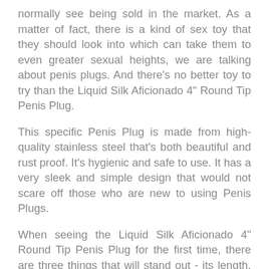normally see being sold in the market. As a matter of fact, there is a kind of sex toy that they should look into which can take them to even greater sexual heights, we are talking about penis plugs. And there's no better toy to try than the Liquid Silk Aficionado 4" Round Tip Penis Plug.
This specific Penis Plug is made from high-quality stainless steel that's both beautiful and rust proof. It's hygienic and safe to use. It has a very sleek and simple design that would not scare off those who are new to using Penis Plugs.
When seeing the Liquid Silk Aficionado 4" Round Tip Penis Plug for the first time, there are three things that will stand out - its length, the head bead, and the conduit opening. This particular penis plug has a total length of 3.34 inches but an effective length of 2.75 inches. The head bead which is a round shaped fixture found on